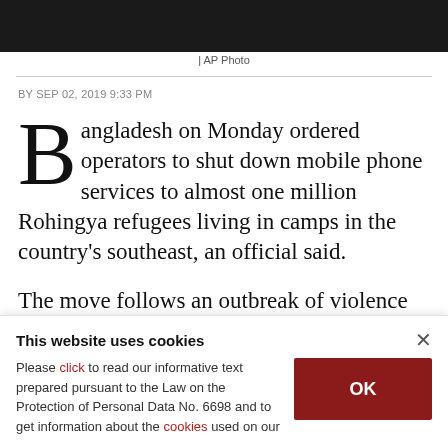[Figure (photo): Dark photo strip at the top of the page, partially visible image]
| AP Photo
BY SEP 02, 2019 9:33 PM
Bangladesh on Monday ordered operators to shut down mobile phone services to almost one million Rohingya refugees living in camps in the country's southeast, an official said.
The move follows an outbreak of violence in recent
This website uses cookies
Please click to read our informative text prepared pursuant to the Law on the Protection of Personal Data No. 6698 and to get information about the cookies used on our